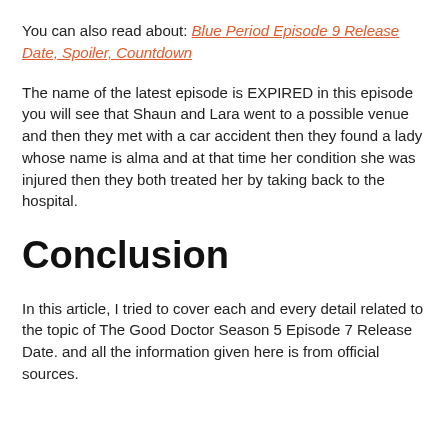You can also read about: Blue Period Episode 9 Release Date, Spoiler, Countdown
The name of the latest episode is EXPIRED in this episode you will see that Shaun and Lara went to a possible venue and then they met with a car accident then they found a lady whose name is alma and at that time her condition she was injured then they both treated her by taking back to the hospital.
Conclusion
In this article, I tried to cover each and every detail related to the topic of The Good Doctor Season 5 Episode 7 Release Date. and all the information given here is from official sources.